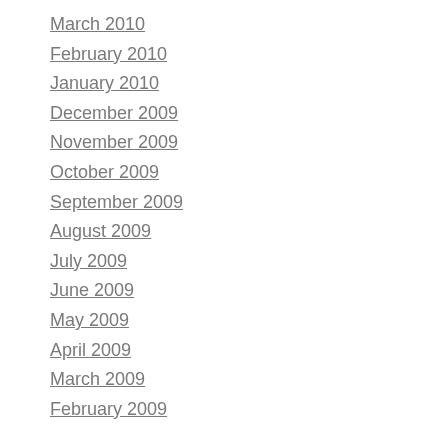March 2010
February 2010
January 2010
December 2009
November 2009
October 2009
September 2009
August 2009
July 2009
June 2009
May 2009
April 2009
March 2009
February 2009